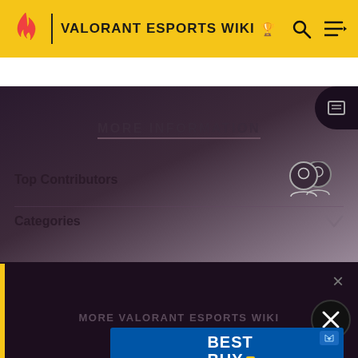VALORANT ESPORTS WIKI
MORE INFORMATION
Top Contributors
Categories
MORE VALORANT ESPORTS WIKI
[Figure (screenshot): Best Buy advertisement banner with blue background and white text]
[Figure (infographic): Screenshot of Valorant Esports Wiki page showing More Information section with Top Contributors and Categories rows, and a Best Buy advertisement]